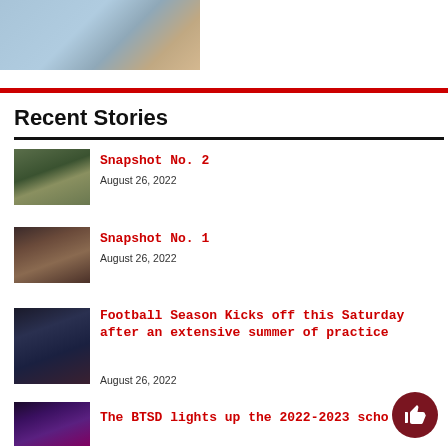[Figure (photo): Partial photo of a person in a light blue sweatshirt with blonde hair, outdoors with rocky background (cropped at top)]
Recent Stories
[Figure (photo): Thumbnail of an outdoor field/sports area with mountains in background]
Snapshot No. 2
August 26, 2022
[Figure (photo): Thumbnail of students at tables indoors]
Snapshot No. 1
August 26, 2022
[Figure (photo): Thumbnail of football players on a field at night]
Football Season Kicks off this Saturday after an extensive summer of practice
August 26, 2022
[Figure (photo): Thumbnail of a lit-up stage or event]
The BTSD lights up the 2022-2023 scho...